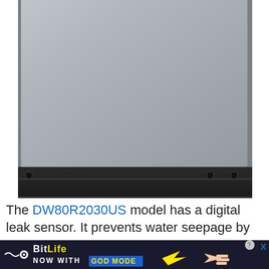[Figure (photo): Bottom portion of a Samsung stainless steel dishwasher showing the brushed metal door panel and black base/kick plate with mounting hardware]
The DW80R2030US model has a digital leak sensor. It prevents water seepage by
[Figure (other): BitLife advertisement banner: 'NOW WITH GOD MODE' with cartoon hand pointing fingers, close button in top right]